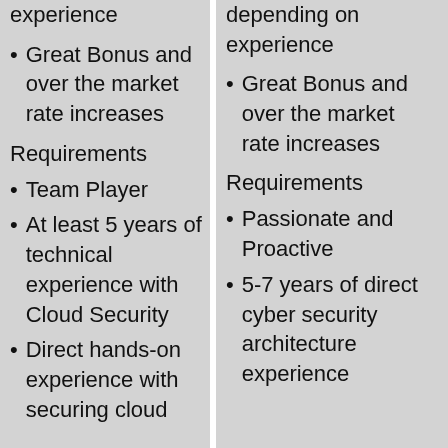experience
Great Bonus and over the market rate increases
Requirements
Team Player
At least 5 years of technical experience with Cloud Security
Direct hands-on experience with securing cloud
depending on experience
Great Bonus and over the market rate increases
Requirements
Passionate and Proactive
5-7 years of direct cyber security architecture experience